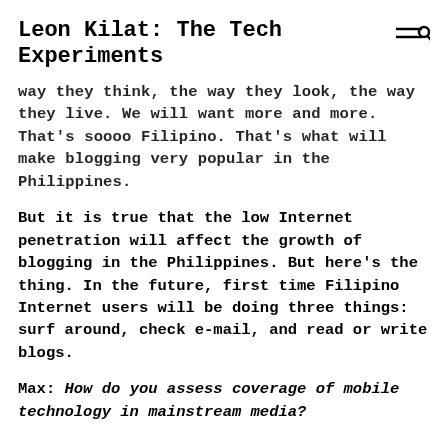Leon Kilat: The Tech Experiments
way they think, the way they look, the way they live. We will want more and more. That's soooo Filipino. That's what will make blogging very popular in the Philippines.
But it is true that the low Internet penetration will affect the growth of blogging in the Philippines. But here's the thing. In the future, first time Filipino Internet users will be doing three things: surf around, check e-mail, and read or write blogs.
Max: How do you assess coverage of mobile technology in mainstream media?